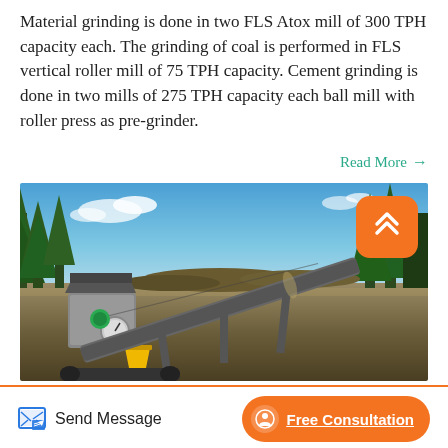Material grinding is done in two FLS Atox mill of 300 TPH capacity each. The grinding of coal is performed in FLS vertical roller mill of 75 TPH capacity. Cement grinding is done in two mills of 275 TPH capacity each ball mill with roller press as pre-grinder.
Read More →
[Figure (photo): Outdoor photo of industrial grinding/crushing equipment on a job site. A mobile machine with conveyor belt and engine unit is visible in the foreground. Trees and blue sky with white clouds in the background. An orange scroll-to-top button overlays the top-right corner of the image.]
Send Message
Free Consultation